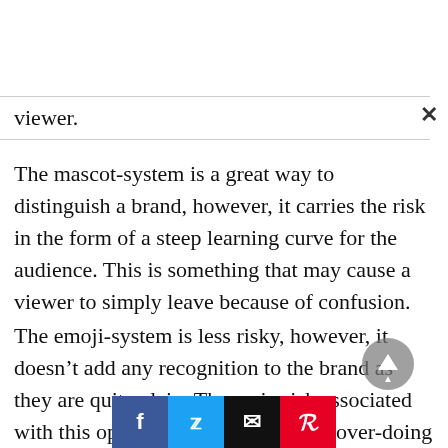viewer.
The mascot-system is a great way to distinguish a brand, however, it carries the risk in the form of a steep learning curve for the audience. This is something that may cause a viewer to simply leave because of confusion.
The emoji-system is less risky, however, it doesn’t add any recognition to the brand as they are quite plain. The main risk associated with this option is the probability of over-doing it. Meaning, the system could inherently